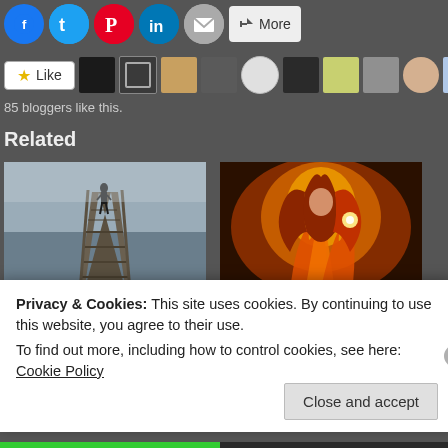[Figure (screenshot): Social share buttons row: Facebook, Twitter, Pinterest, LinkedIn, Email, More]
[Figure (screenshot): Like button with star icon and row of 10 blogger avatars]
85 bloggers like this.
Related
[Figure (photo): Black and white photo of a person standing on a dock/pier over misty grey water]
[Figure (photo): Colorful fantasy illustration of a fiery red-haired female figure with glowing light]
Apology
Fire
Privacy & Cookies: This site uses cookies. By continuing to use this website, you agree to their use.
To find out more, including how to control cookies, see here: Cookie Policy
Close and accept